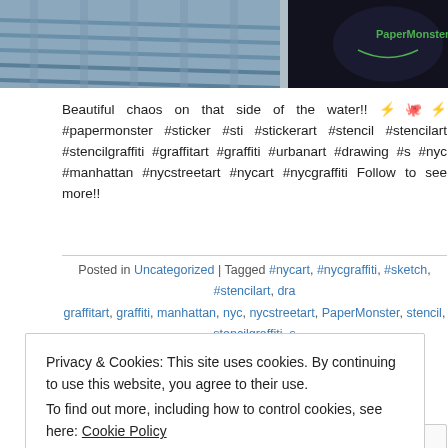[Figure (photo): Cropped photo strip showing two images: left side shows metal railings/stairs in daylight, right side shows a dark cap/hat with green logo on black background]
Beautiful chaos on that side of the water!! ⚡🐙⚡ #papermonster #sticker #sti #stickerart #stencil #stencilart #stencilgraffiti #graffitart #graffiti #urbanart #drawing #s #nyc #manhattan #nycstreetart #nycart #nycgraffiti Follow to see more!!
Posted in Uncategorized | Tagged #nycart, #nycgraffiti, #sketch, #stencilart, dra graffitart, graffiti, manhattan, nyc, nycstreetart, PaperMonster, stencil, stencilgraffiti, s stickerart, stickers, urbanart | Leave a Comm
[Figure (illustration): Small blue icon made of two squares]
June 7, 2016
Privacy & Cookies: This site uses cookies. By continuing to use this website, you agree to their use.
To find out more, including how to control cookies, see here: Cookie Policy
Close and accept